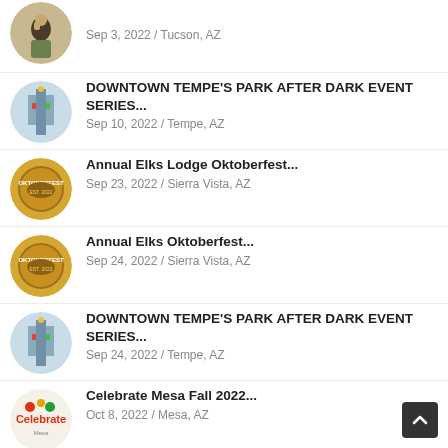Sep 3, 2022 / Tucson, AZ
DOWNTOWN TEMPE'S PARK AFTER DARK EVENT SERIES...
Sep 10, 2022 / Tempe, AZ
Annual Elks Lodge Oktoberfest...
Sep 23, 2022 / Sierra Vista, AZ
Annual Elks Oktoberfest...
Sep 24, 2022 / Sierra Vista, AZ
DOWNTOWN TEMPE'S PARK AFTER DARK EVENT SERIES...
Sep 24, 2022 / Tempe, AZ
Celebrate Mesa Fall 2022...
Oct 8, 2022 / Mesa, AZ